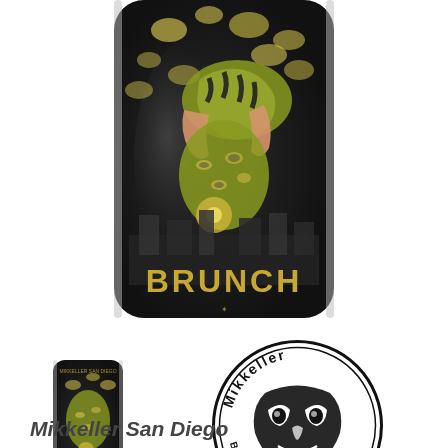[Figure (photo): Close-up photograph of a Mikkeller San Diego beer can labeled 'BRUNCH'. The can has a dark/black background with illustrated artwork of a person in a leopard-print outfit holding a tiger. Gold text reads 'BRUNCH' on the lower portion of the can.]
[Figure (photo): Small thumbnail photograph of the full Mikkeller 'BRUNCH' beer can showing the complete artwork and branding.]
[Figure (logo): Mikkeller Brewing San Diego circular logo with stylized face/mask design in black and white, with text 'Mikkeller' at the top and 'Brewing San Diego' at the bottom of the circle.]
Mikkeller San Diego